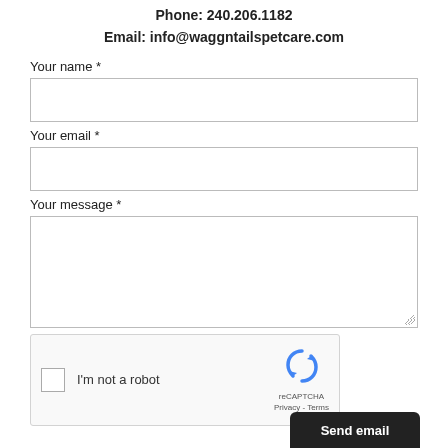Phone: 240.206.1182
Email: info@waggntailspetcare.com
Your name *
Your email *
Your message *
[Figure (other): reCAPTCHA widget with checkbox labeled 'I'm not a robot' and reCAPTCHA logo with Privacy and Terms links]
Send email